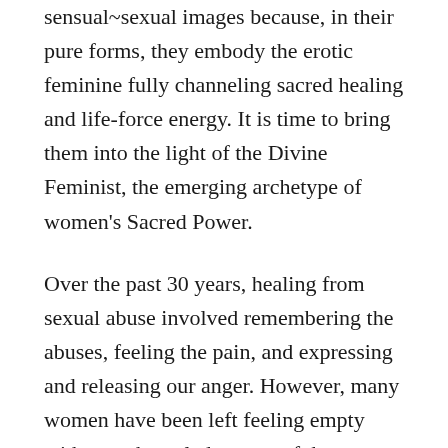sensual~sexual images because, in their pure forms, they embody the erotic feminine fully channeling sacred healing and life-force energy. It is time to bring them into the light of the Divine Feminist, the emerging archetype of women's Sacred Power.
Over the past 30 years, healing from sexual abuse involved remembering the abuses, feeling the pain, and expressing and releasing our anger. However, many women have been left feeling empty with no acknowledgement of the connection between heart and genitals and the Divine. We call for a revolutionary approach to sexual healing that allows us to reframe our wounding in light of the voluptuous, pleasure-loving Goddess. She is there to show us a new